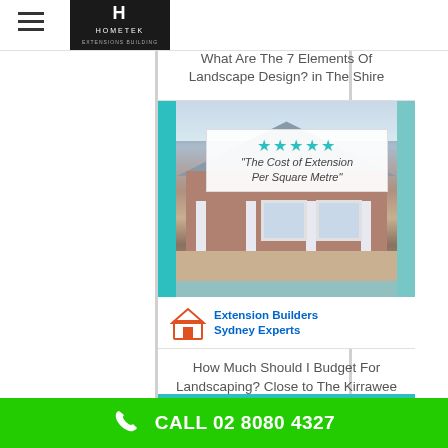Hometek
What Are The 7 Elements Of Landscape Design? in The Shire
[Figure (photo): Photo of a brick house extension with white columns and tiled roof, overlaid with a white card showing five stars and text 'The Cost of Extension Per Square Metre'. Below the photo is an Extension Builders Sydney Experts logo with a house icon.]
How Much Should I Budget For Landscaping? Close to The Kirrawee Brick Pit
CALL 02 8080 4327